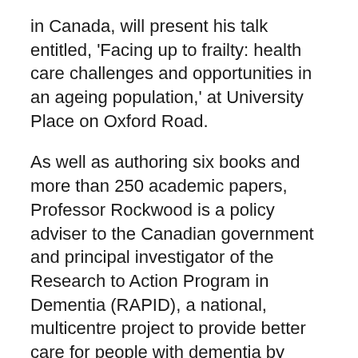in Canada, will present his talk entitled, 'Facing up to frailty: health care challenges and opportunities in an ageing population,' at University Place on Oxford Road.
As well as authoring six books and more than 250 academic papers, Professor Rockwood is a policy adviser to the Canadian government and principal investigator of the Research to Action Program in Dementia (RAPID), a national, multicentre project to provide better care for people with dementia by facilitating and carrying out translational research.
The ageing of populations is leading to major changes in our societies and while this prospect presents economic and social risks, there are considerable benefits associated with an older, but healthier and more actively engaged population.
In his lecture Professor Rockwood will shed light on